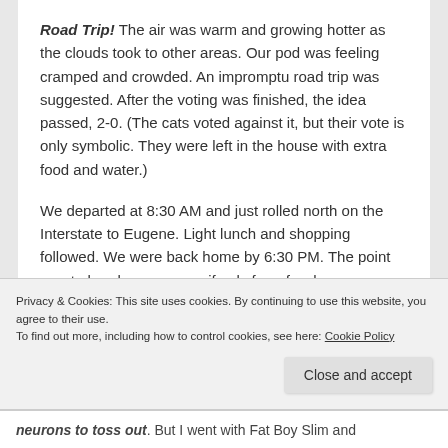Road Trip! The air was warm and growing hotter as the clouds took to other areas. Our pod was feeling cramped and crowded. An impromptu road trip was suggested. After the voting was finished, the idea passed, 2-0. (The cats voted against it, but their vote is only symbolic. They were left in the house with extra food and water.)

We departed at 8:30 AM and just rolled north on the Interstate to Eugene. Light lunch and shopping followed. We were back home by 6:30 PM. The point was to break away, even if only for a few hours. Mission accomplished.
Privacy & Cookies: This site uses cookies. By continuing to use this website, you agree to their use.
To find out more, including how to control cookies, see here: Cookie Policy
neurons to toss out. But I went with Fat Boy Slim and